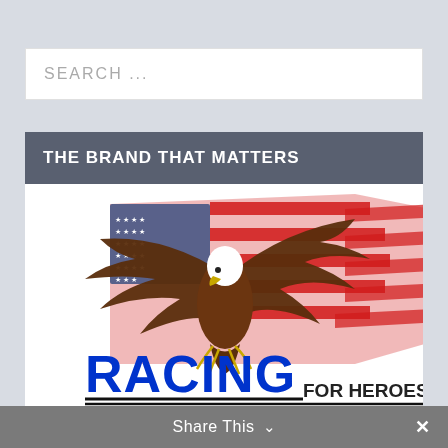SEARCH ...
THE BRAND THAT MATTERS
[Figure (logo): Racing for Heroes logo featuring a bald eagle with wings spread over an American flag, with text 'RACING FOR HEROES' in blue]
Share This ∨  ✕